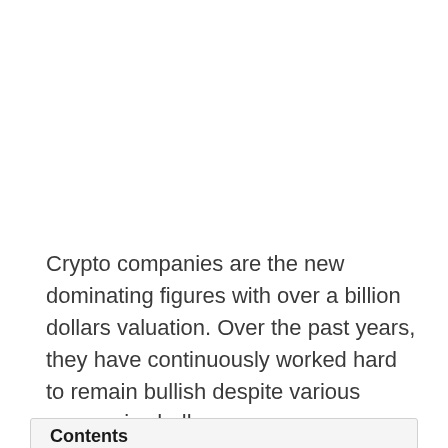Crypto companies are the new dominating figures with over a billion dollars valuation. Over the past years, they have continuously worked hard to remain bullish despite various economic challenges.
Contents